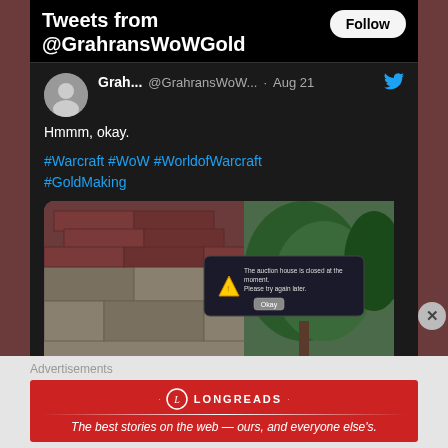Tweets from @GrahransWoWGold
Grah... @GrahransWoW... · Aug 21
Hmmm, okay.
#Warcraft #WoW #WorldofWarcraft #GoldMaking
[Figure (screenshot): World of Warcraft game screenshot showing auction house closed dialog: 'The auction house is closed at the moment. Please try again later.' with an OK button]
Advertisements
[Figure (logo): Longreads advertisement: 'The best stories on the web — ours, and everyone else's.' with Longreads logo on red background]